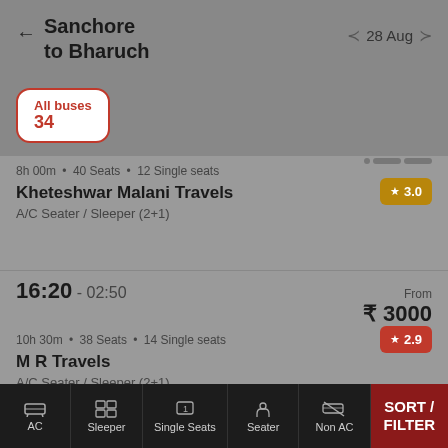Sanchore to Bharuch
28 Aug
All buses
34
8h 00m • 40 Seats • 12 Single seats
Kheteshwar Malani Travels
★ 3.0
A/C Seater / Sleeper (2+1)
16:20 - 02:50
From
₹ 3000
10h 30m • 38 Seats • 14 Single seats
M R Travels
★ 2.9
A/C Seater / Sleeper (2+1)
AC   Sleeper   Single Seats   Seater   Non AC   SORT / FILTER